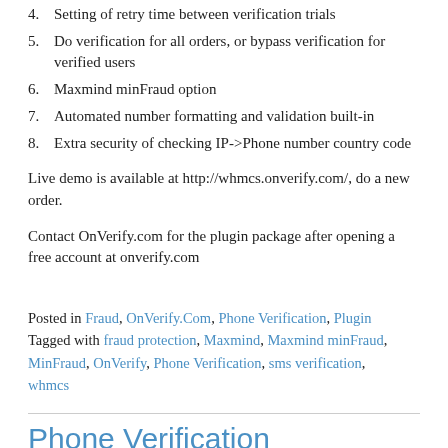4. Setting of retry time between verification trials
5. Do verification for all orders, or bypass verification for verified users
6. Maxmind minFraud option
7. Automated number formatting and validation built-in
8. Extra security of checking IP->Phone number country code
Live demo is available at http://whmcs.onverify.com/, do a new order.
Contact OnVerify.com for the plugin package after opening a free account at onverify.com
Posted in Fraud, OnVerify.Com, Phone Verification, Plugin Tagged with fraud protection, Maxmind, Maxmind minFraud, MinFraud, OnVerify, Phone Verification, sms verification, whmcs
Phone Verification